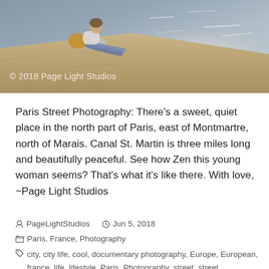[Figure (photo): A young woman sitting on stone pavement beside Canal St. Martin in Paris, with water reflecting sunlight in the background. Watermark reads '© 2018 Page Light Studios'.]
Paris Street Photography: There's a sweet, quiet place in the north part of Paris, east of Montmartre, north of Marais. Canal St. Martin is three miles long and beautifully peaceful. See how Zen this young woman seems? That's what it's like there. With love, ~Page Light Studios
PageLightStudios  Jun 5, 2018
Paris, France, Photography
city, city life, cool, documentary photography, Europe, European, france, life, lifestyle, Paris, Photography, street, street photography